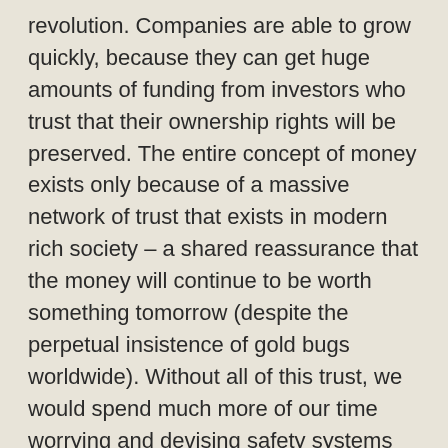revolution. Companies are able to grow quickly, because they can get huge amounts of funding from investors who trust that their ownership rights will be preserved. The entire concept of money exists only because of a massive network of trust that exists in modern rich society – a shared reassurance that the money will continue to be worth something tomorrow (despite the perpetual insistence of gold bugs worldwide). Without all of this trust, we would spend much more of our time worrying and devising safety systems and much less time actually getting things done.
The effect of trust is amazing when you think about its effect on your daily life.
A few weeks ago, I decided to finally re-paint the peeling exterior of my house. It's a big place that would have cost at least $3000 to paint if I hired a contractor. Instead, I